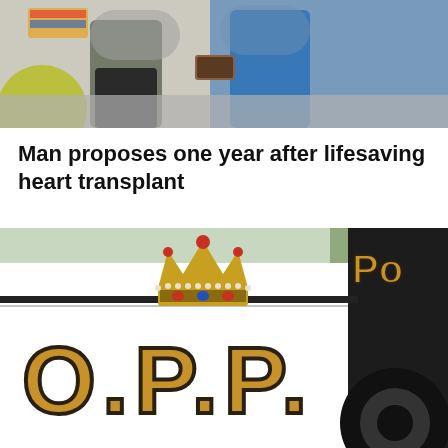[Figure (photo): A man proposing to a woman in what appears to be a hospital or institutional setting. A person in a grey top and another in a blue top are visible, with a yellow circle design and colorful background. The bottom portion is blurred.]
Man proposes one year after lifesaving heart transplant
[Figure (photo): Close-up of an Ontario Provincial Police (O.P.P.) car door showing the O.P.P. lettering in gold/brown with black outline, and a royal crown emblem above the lettering. The right side of the image shows a dark section of the vehicle and a tire.]